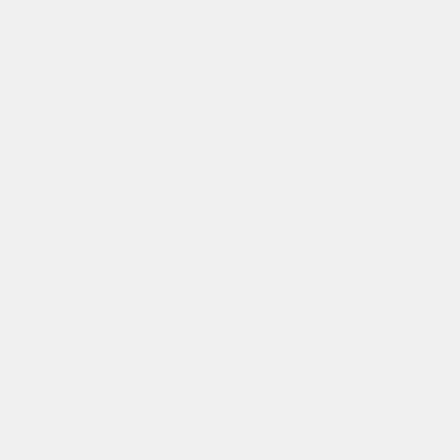involving more than two people (e.g. melees and wars in this case they must be on the field as a